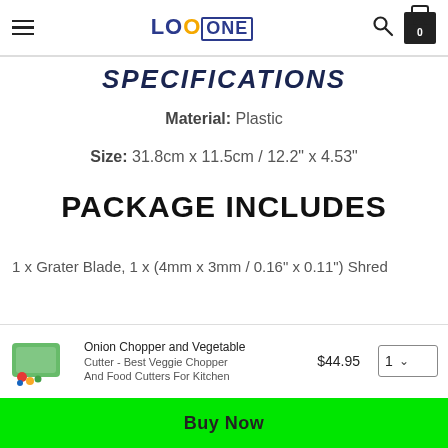LOOONE - navigation header with hamburger menu, logo, search and cart icons
SPECIFICATIONS
Material: Plastic
Size: 31.8cm x 11.5cm / 12.2" x 4.53"
PACKAGE INCLUDES
1 x Grater Blade, 1 x (4mm x 3mm / 0.16" x 0.11") Shred
Onion Chopper and Vegetable $44.95 1 | Cutter - Best Veggie Chopper | And Food Cutters For Kitchen | Buy Now